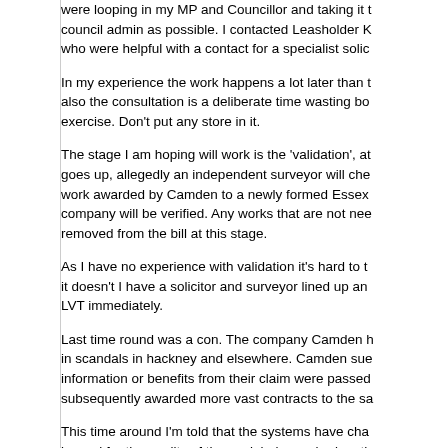were looping in my MP and Councillor and taking it to council admin as possible. I contacted Leasholder K who were helpful with a contact for a specialist solic
In my experience the work happens a lot later than t also the consultation is a deliberate time wasting bo exercise. Don’t put any store in it.
The stage I am hoping will work is the ‘validation’, at goes up, allegedly an independent surveyor will che work awarded by Camden to a newly formed Essex company will be verified. Any works that are not nee removed from the bill at this stage.
As I have no experience with validation it's hard to t it doesn’t I have a solicitor and surveyor lined up an LVT immediately.
Last time round was a con. The company Camden h in scandals in hackney and elsewhere. Camden sue information or benefits from their claim were passed subsequently awarded more vast contracts to the sa
This time around I’m told that the systems have cha braced for the quality of the work being as bad on th the £5k job a few years ago.cSo getting a realistic v